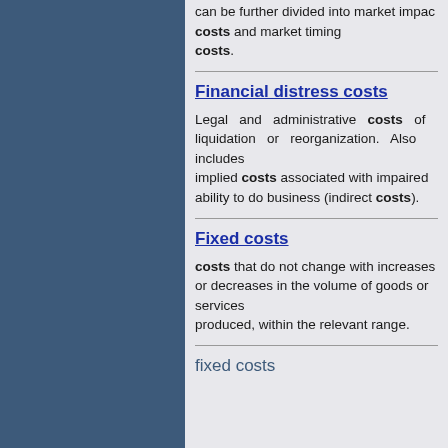can be further divided into market impact costs and market timing costs.
Financial distress costs
Legal and administrative costs of liquidation or reorganization. Also includes implied costs associated with impaired ability to do business (indirect costs).
Fixed costs
costs that do not change with increases or decreases in the volume of goods or services produced, within the relevant range.
fixed costs